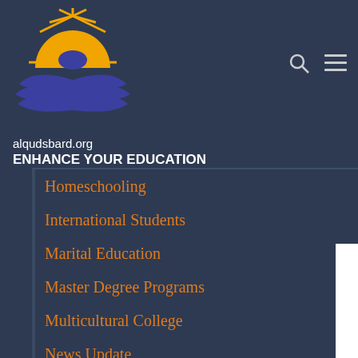[Figure (logo): alqudsbard.org logo with sun and open book in blue and orange/gold colors]
alqudsbard.org
ENHANCE YOUR EDUCATION
Homeschooling
International Students
Marital Education
Master Degree Programs
Multicultural College
News Update
Online Education
Parenting Education
Part time Students
Physics
Postgraduate Programs